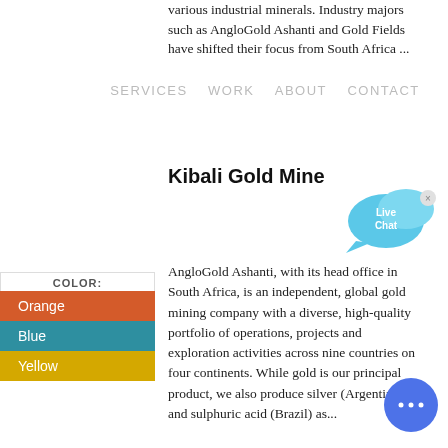various industrial minerals. Industry majors such as AngloGold Ashanti and Gold Fields have shifted their focus from South Africa …
SERVICES   WORK   ABOUT   CONTACT
Kibali Gold Mine
[Figure (illustration): Live Chat speech bubble icon in light blue with 'Live Chat' text and an x close button]
| COLOR: |
| --- |
| Orange |
| Blue |
| Yellow |
AngloGold Ashanti, with its head office in South Africa, is an independent, global gold mining company with a diverse, high-quality portfolio of operations, projects and exploration activities across nine countries on four continents. While gold is our principal product, we also produce silver (Argentina) and sulphuric acid (Brazil) as…
[Figure (illustration): Blue circular chat button with ellipsis (three dots) icon]